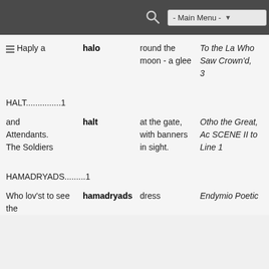- Main Menu -
Haply a | halo | round the moon - a glee | To the La Who Saw Crown'd, 3
HALT...............1
and Attendants. The Soldiers | halt | at the gate, with banners in sight. | Otho the Great, Ac SCENE II to Line 1
HAMADRYADS.........1
Who lov'st to see the | hamadryads | dress | Endymio Poetic